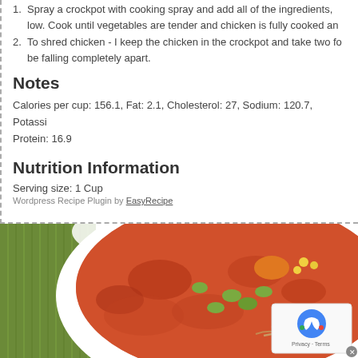1. Spray a crockpot with cooking spray and add all of the ingredients, low. Cook until vegetables are tender and chicken is fully cooked an
2. To shred chicken - I keep the chicken in the crockpot and take two fo be falling completely apart.
Notes
Calories per cup: 156.1, Fat: 2.1, Cholesterol: 27, Sodium: 120.7, Potassi Protein: 16.9
Nutrition Information
Serving size: 1 Cup
Wordpress Recipe Plugin by EasyRecipe
[Figure (photo): A white bowl filled with chicken vegetable soup containing tomatoes, corn, lima beans, carrots, and shredded chicken, placed on a green striped placemat.]